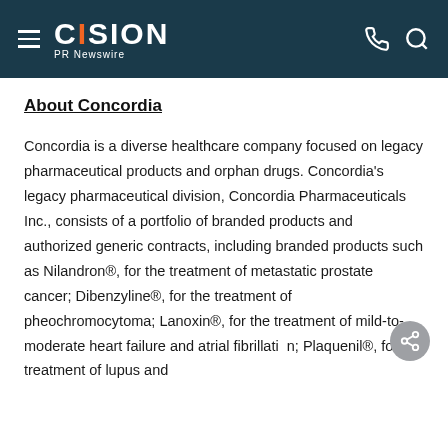CISION PR Newswire
About Concordia
Concordia is a diverse healthcare company focused on legacy pharmaceutical products and orphan drugs. Concordia's legacy pharmaceutical division, Concordia Pharmaceuticals Inc., consists of a portfolio of branded products and authorized generic contracts, including branded products such as Nilandron®, for the treatment of metastatic prostate cancer; Dibenzyline®, for the treatment of pheochromocytoma; Lanoxin®, for the treatment of mild-to-moderate heart failure and atrial fibrillation; Plaquenil®, for the treatment of lupus and